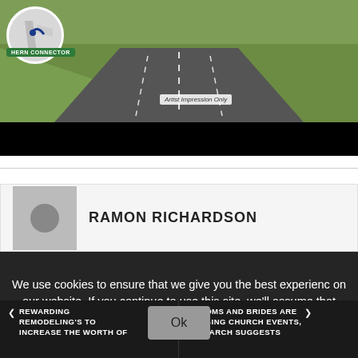[Figure (photo): Aerial/top-down view of a highway road through green/brown fields, with a mini circular map inset in the top-left corner and 'HERN CONNECTOR' badge. Black bar at bottom. Label reads 'Artist Impression Only'.]
RAMON RICHARDSON
We use cookies to ensure that we give you the best experience on our website. If you continue to use this site, we'll assume that you're ok with this.
Ok
< REWARDING REMODELING'S TO INCREASE THE WORTH OF
GROOMS AND BRIDES ARE DODGING CHURCH EVENTS, RESEARCH SUGGESTS >